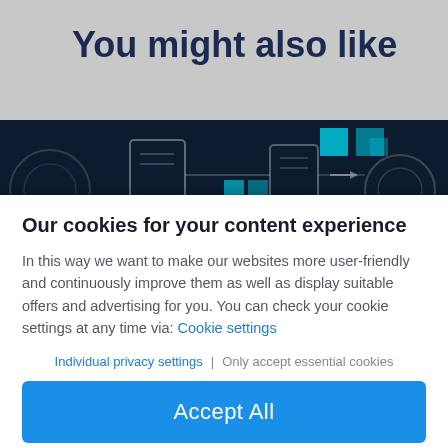You might also like
[Figure (illustration): Dark blue technology/circuit themed banner image with teal/cyan square accents and white outline shapes against a dark background]
Our cookies for your content experience
In this way we want to make our websites more user-friendly and continuously improve them as well as display suitable offers and advertising for you. You can check your cookie settings at any time via: Cookie settings
Individual privacy settings | Only accept essential cookies
Accept All